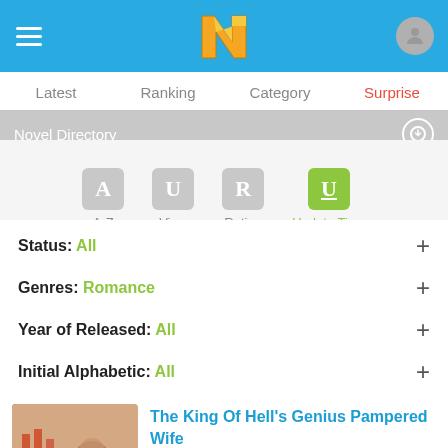Novel Directory app header with navigation: Latest, Ranking, Category, Surprise (active)
Novel Directory
[Figure (screenshot): Sort icons row: A-Z (gray), View (gray), Rating (gray), Update Time (green/active)]
Status: All
Genres: Romance
Year of Released: All
Initial Alphabetic: All
[Figure (illustration): Book cover for 'The King Of Hell's Genius Pampered Wife' with HOT badge]
The King Of Hell's Genius Pampered Wife
2,235,886 views
The King of Hell's Genius Pampered Wife Chapter 1211